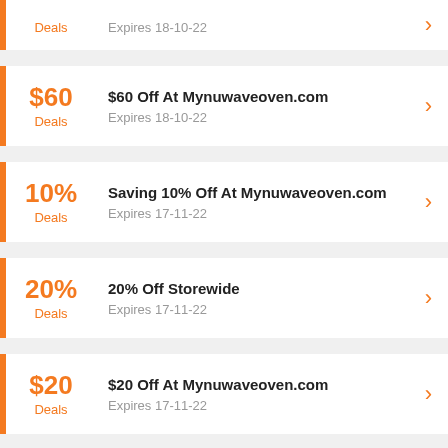Deals | Expires 18-10-22
$60 Off At Mynuwaveoven.com | Deals | Expires 18-10-22
Saving 10% Off At Mynuwaveoven.com | Deals | Expires 17-11-22
20% Off Storewide | Deals | Expires 17-11-22
$20 Off At Mynuwaveoven.com | Deals | Expires 17-11-22